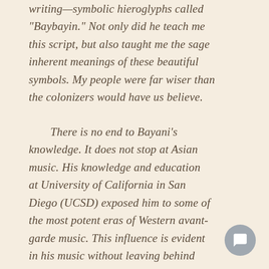writing—symbolic hieroglyphs called "Baybayin." Not only did he teach me this script, but also taught me the sage inherent meanings of these beautiful symbols. My people were far wiser than the colonizers would have us believe.
There is no end to Bayani's knowledge. It does not stop at Asian music. His knowledge and education at University of California in San Diego (UCSD) exposed him to some of the most potent eras of Western avant-garde music. This influence is evident in his music without leaving behind lyrical aesthetics. His vocal pieces have beautiful melodies and occasionally operatic lines. His art songs are intimate and touching. The piano